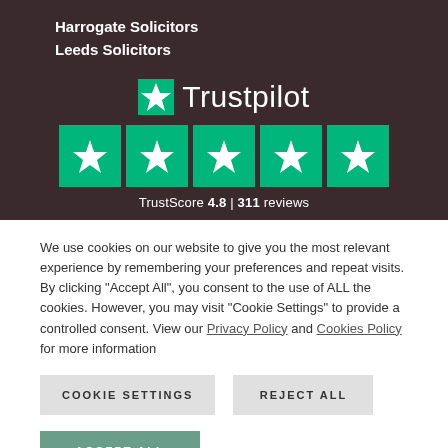Harrogate Solicitors
Leeds Solicitors
[Figure (logo): Trustpilot logo with green star, 5 green star rating boxes, and TrustScore 4.8 | 311 reviews]
We use cookies on our website to give you the most relevant experience by remembering your preferences and repeat visits. By clicking “Accept All”, you consent to the use of ALL the cookies. However, you may visit “Cookie Settings” to provide a controlled consent. View our Privacy Policy and Cookies Policy for more information
COOKIE SETTINGS
REJECT ALL
ACCEPT ALL